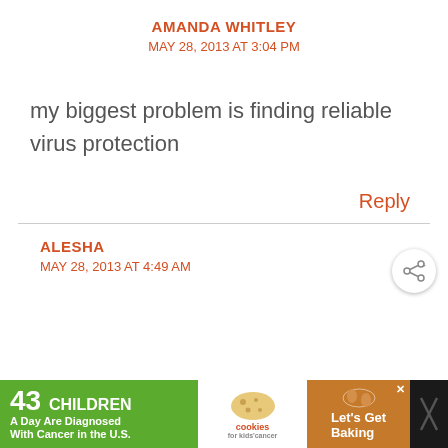AMANDA WHITLEY
MAY 28, 2013 AT 3:04 PM
my biggest problem is finding reliable virus protection
Reply
ALESHA
MAY 28, 2013 AT 4:49 AM
[Figure (screenshot): Advertisement banner: '43 CHILDREN A Day Are Diagnosed With Cancer in the U.S.' with cookies for kids cancer logo and Let's Get Baking text]
[Figure (other): Share button icon (circular button with share symbol)]